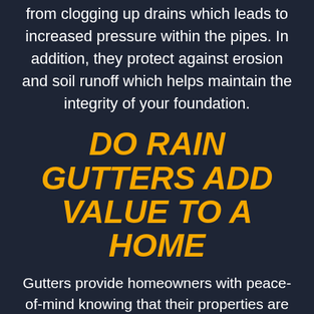from clogging up drains which leads to increased pressure within the pipes. In addition, they protect against erosion and soil runoff which helps maintain the integrity of your foundation.
DO RAIN GUTTERS ADD VALUE TO A HOME
Gutters provide homeowners with peace-of-mind knowing that their properties are protected against flooding and storm related damages. They also make them look better which adds to its overall appeal. Many people